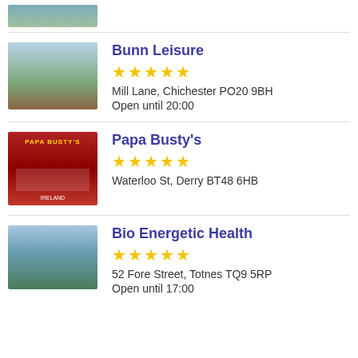[Figure (photo): Partial top image of a landscape or campsite scene]
Bunn Leisure
★★★★★
Mill Lane, Chichester PO20 9BH
Open until 20:00
[Figure (photo): Photo of Bunn Leisure campsite with caravan and field]
Papa Busty's
★★★★★
Waterloo St, Derry BT48 6HB
[Figure (photo): Photo of Papa Busty's storefront with red facade and Ireland sign]
Bio Energetic Health
★★★★★
52 Fore Street, Totnes TQ9 5RP
Open until 17:00
[Figure (photo): Photo of coastal scenery, cliffs and sea]